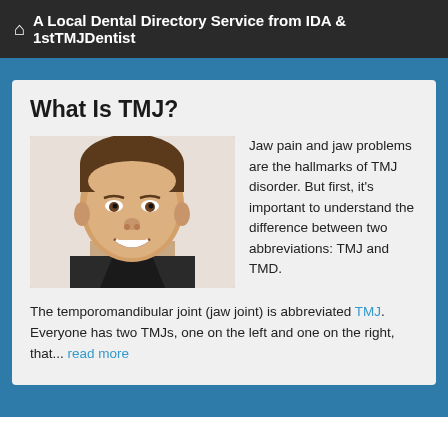A Local Dental Directory Service from IDA & 1stTMJDentist
What Is TMJ?
[Figure (photo): Smiling young man, headshot photo]
Jaw pain and jaw problems are the hallmarks of TMJ disorder. But first, it's important to understand the difference between two abbreviations: TMJ and TMD.
The temporomandibular joint (jaw joint) is abbreviated TMJ. Everyone has two TMJs, one on the left and one on the right, that... read more